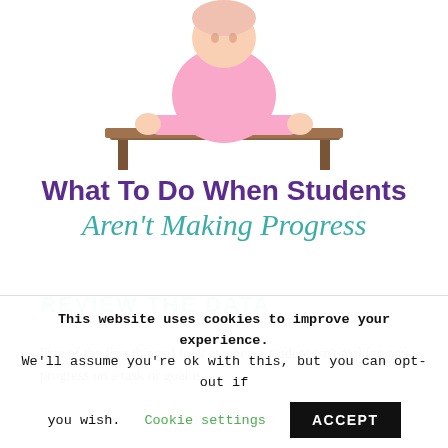[Figure (photo): Child in pink clothing sitting at a wooden school desk, viewed from above/front, arms resting on the desk.]
What To Do When Students Aren't Making Progress
REVIEW THE DATA
One of the first things I look at when a student isn't making any progress on a task or goal is
This website uses cookies to improve your experience. We'll assume you're ok with this, but you can opt-out if you wish. Cookie settings ACCEPT